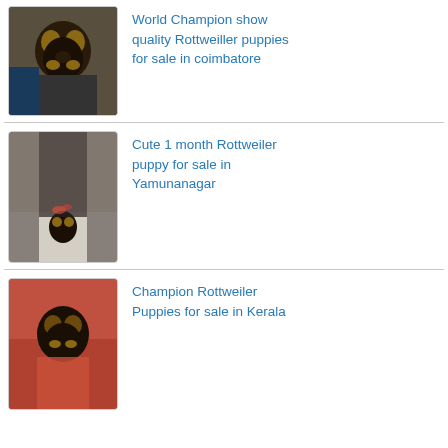[Figure (photo): Black and tan Rottweiler puppy being held]
World Champion show quality Rottweiller puppies for sale in coimbatore
[Figure (photo): Small black Rottweiler puppy on a light floor with person standing behind]
Cute 1 month Rottweiler puppy for sale in Yamunanagar
[Figure (photo): Rottweiler puppy being held by person in red clothing]
Champion Rottweiler Puppies for sale in Kerala